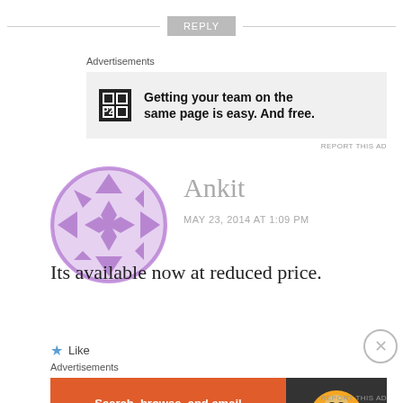[Figure (other): REPLY button with horizontal lines on either side]
Advertisements
[Figure (other): P2 advertisement banner: Getting your team on the same page is easy. And free.]
REPORT THIS AD
[Figure (illustration): Purple decorative avatar icon with geometric pattern]
Ankit
MAY 23, 2014 AT 1:09 PM
Its available now at reduced price.
Like
Advertisements
[Figure (other): DuckDuckGo advertisement: Search, browse, and email with more privacy. All in One Free App]
REPORT THIS AD